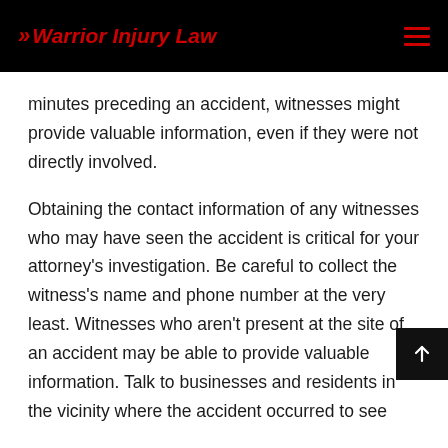>> Warrior Injury Law
minutes preceding an accident, witnesses might provide valuable information, even if they were not directly involved.
Obtaining the contact information of any witnesses who may have seen the accident is critical for your attorney's investigation. Be careful to collect the witness's name and phone number at the very least. Witnesses who aren't present at the site of an accident may be able to provide valuable information. Talk to businesses and residents in the vicinity where the accident occurred to see